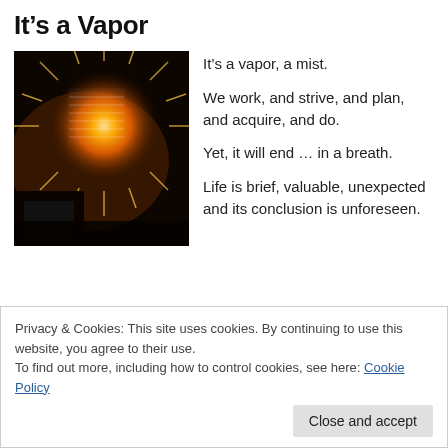It's a Vapor
[Figure (photo): Indoor photo showing sunlight shining through window blinds creating a starburst flare effect in an orange/amber tone, with dark interior surroundings]
It's a vapor, a mist.

We work, and strive, and plan, and acquire, and do.

Yet, it will end … in a breath.

Life is brief, valuable, unexpected and its conclusion is unforeseen.
Privacy & Cookies: This site uses cookies. By continuing to use this website, you agree to their use.
To find out more, including how to control cookies, see here: Cookie Policy
Close and accept